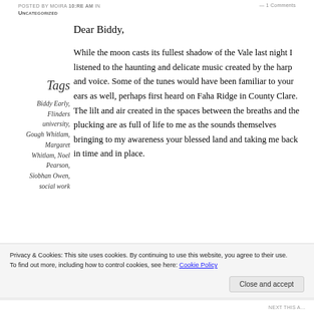POSTED BY MOIRA 10:RE AM IN UNCATEGORIZED — 1 COMMENTS
Dear Biddy,
Tags
Biddy Early, Flinders university, Gough Whitlam, Margaret Whitlam, Noel Pearson, Siobhan Owen, social work
While the moon casts its fullest shadow of the Vale last night I listened to the haunting and delicate music created by the harp and voice. Some of the tunes would have been familiar to your ears as well, perhaps first heard on Faha Ridge in County Clare. The lilt and air created in the spaces between the breaths and the plucking are as full of life to me as the sounds themselves bringing to my awareness your blessed land and taking me back in time and in place.
Privacy & Cookies: This site uses cookies. By continuing to use this website, you agree to their use. To find out more, including how to control cookies, see here: Cookie Policy
Close and accept
NEXT THIS A…